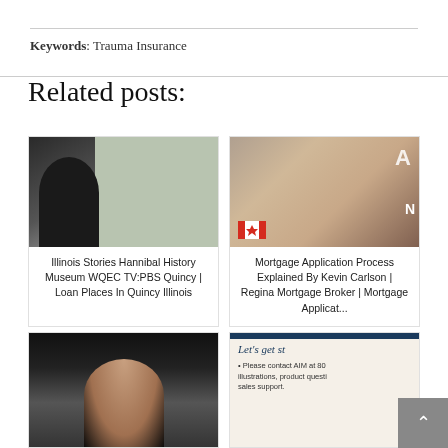Keywords: Trauma Insurance
Related posts:
[Figure (photo): Man in dark sweater looking at a museum display board]
Illinois Stories Hannibal History Museum WQEC TV:PBS Quincy | Loan Places In Quincy Illinois
[Figure (photo): Man with glasses in plaid shirt with Canadian flag overlay]
Mortgage Application Process Explained By Kevin Carlson | Regina Mortgage Broker | Mortgage Applicat...
[Figure (photo): Woman with dark hair against dark background]
[Figure (photo): Document with Let's get started heading and AIM contact information]